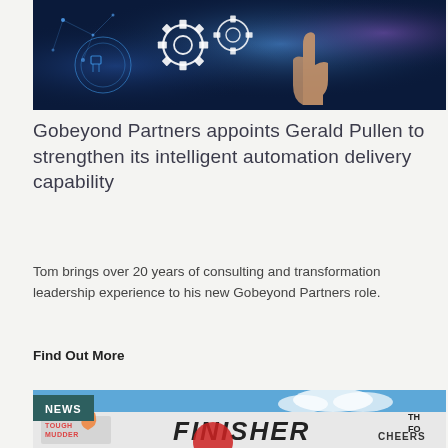[Figure (photo): Digital technology concept image showing a hand pointing at glowing gear icons and network nodes on a dark blue background with circuit-like patterns.]
Gobeyond Partners appoints Gerald Pullen to strengthen its intelligent automation delivery capability
Tom brings over 20 years of consulting and transformation leadership experience to his new Gobeyond Partners role.
Find Out More
[Figure (photo): Tough Mudder event photo showing a large FINISHER banner with event logos and crowd in background.]